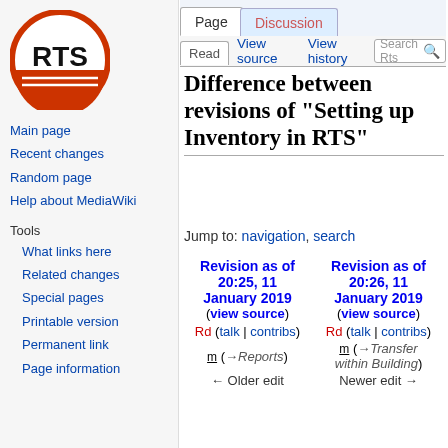Log in
[Figure (logo): RTS logo: orange circle with RTS text and horizontal lines]
Main page
Recent changes
Random page
Help about MediaWiki
Tools
What links here
Related changes
Special pages
Printable version
Permanent link
Page information
Difference between revisions of "Setting up Inventory in RTS"
Jump to: navigation, search
| Revision as of 20:25, 11 January 2019 (view source) | Revision as of 20:26, 11 January 2019 (view source) |
| --- | --- |
| Rd (talk | contribs) | Rd (talk | contribs) |
| m (→Reports) | m (→Transfer within Building) |
| ← Older edit | Newer edit → |